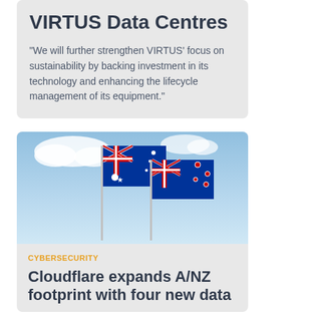VIRTUS Data Centres
"We will further strengthen VIRTUS' focus on sustainability by backing investment in its technology and enhancing the lifecycle management of its equipment."
[Figure (photo): Australian and New Zealand flags on flagpoles against a light blue sky with clouds]
CYBERSECURITY
Cloudflare expands A/NZ footprint with four new data